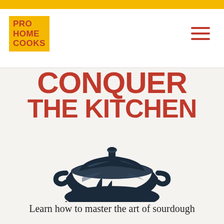[Figure (logo): Pro Home Cooks logo — yellow background with red bold text PRO HOME COOKS in stacked lines]
[Figure (illustration): Hamburger menu icon — three red horizontal lines in upper right of header]
CONQUER THE KITCHEN
[Figure (illustration): Dark navy/black illustration of a cast iron Dutch oven pot with lid and handles, sitting on stylized flames]
Learn how to master the art of sourdough